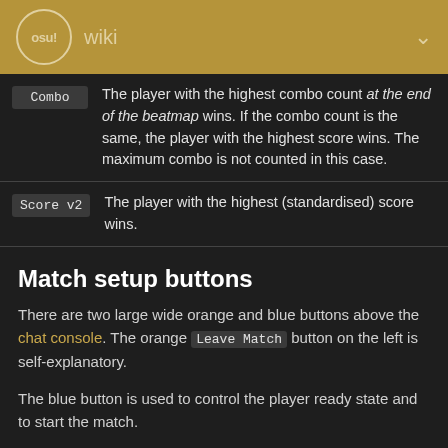osu! wiki
| Mode | Description |
| --- | --- |
| Combo | The player with the highest combo count at the end of the beatmap wins. If the combo count is the same, the player with the highest score wins. The maximum combo is not counted in this case. |
| Score v2 | The player with the highest (standardised) score wins. |
Match setup buttons
There are two large wide orange and blue buttons above the chat console. The orange Leave Match button on the left is self-explanatory.
The blue button is used to control the player ready state and to start the match.
| Title | Description |
| --- | --- |
|  | Marks the player as ready (green on |